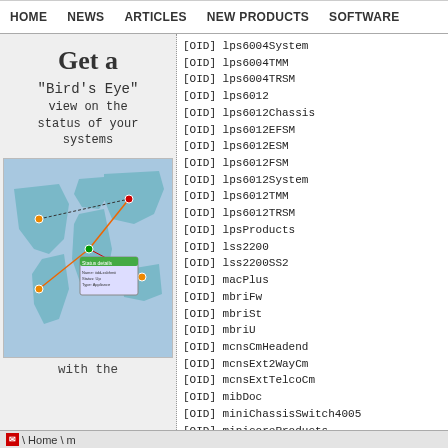HOME  NEWS  ARTICLES  NEW PRODUCTS  SOFTWARE
[Figure (illustration): Advertisement image showing 'Get a Bird's Eye view on the status of your systems with the' text over a world map graphic with network monitoring UI overlay]
[OID] lps6004System
[OID] lps6004TMM
[OID] lps6004TRSM
[OID] lps6012
[OID] lps6012Chassis
[OID] lps6012EFSM
[OID] lps6012ESM
[OID] lps6012FSM
[OID] lps6012System
[OID] lps6012TMM
[OID] lps6012TRSM
[OID] lpsProducts
[OID] lss2200
[OID] lss2200SS2
[OID] macPlus
[OID] mbriFw
[OID] mbriSt
[OID] mbriU
[OID] mcnsCmHeadend
[OID] mcnsExt2WayCm
[OID] mcnsExtTelcoCm
[OID] mibDoc
[OID] miniChassisSwitch4005
[OID] minicoreProducts
[OID] mp6Eth
[OID] mp6EthFl
\  Home  \ m